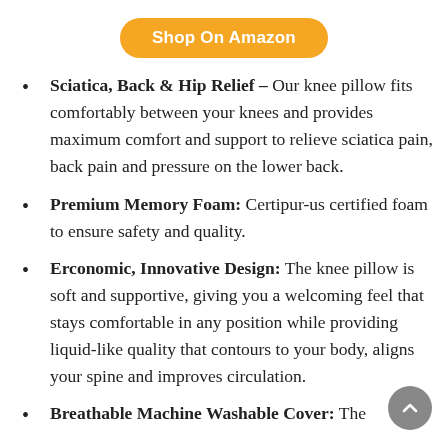[Figure (other): Orange rounded rectangle button with white text 'Shop On Amazon']
Sciatica, Back & Hip Relief – Our knee pillow fits comfortably between your knees and provides maximum comfort and support to relieve sciatica pain, back pain and pressure on the lower back.
Premium Memory Foam: Certipur-us certified foam to ensure safety and quality.
Erconomic, Innovative Design: The knee pillow is soft and supportive, giving you a welcoming feel that stays comfortable in any position while providing liquid-like quality that contours to your body, aligns your spine and improves circulation.
Breathable Machine Washable Cover: The